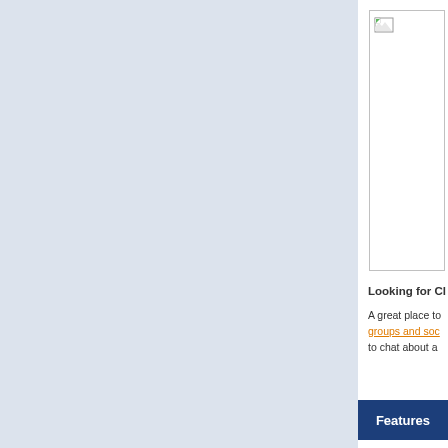[Figure (screenshot): Left panel with light blue-gray background covering approximately left 80% of the page]
[Figure (photo): Broken image placeholder with small icon in upper-left corner, white background with border, tall narrow image region on right side]
Looking for Cl
A great place to
groups and soc
to chat about a
Features